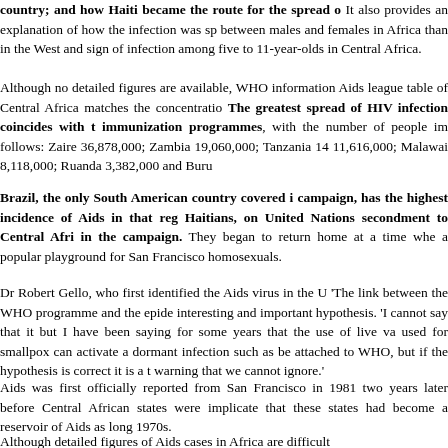country; and how Haiti became the route for the spread of... It also provides an explanation of how the infection was spread more equally between males and females in Africa than in the West and... sign of infection among five to 11-year-olds in Central Africa.
Although no detailed figures are available, WHO information... Aids league table of Central Africa matches the concentration... The greatest spread of HIV infection coincides with the immunization programmes, with the number of people im... follows: Zaire 36,878,000; Zambia 19,060,000; Tanzania 14... 11,616,000; Malawai 8,118,000; Ruanda 3,382,000 and Buru...
Brazil, the only South American country covered in... campaign, has the highest incidence of Aids in that regi... Haitians, on United Nations secondment to Central Afric... in the campaign. They began to return home at a time when... a popular playground for San Francisco homosexuals.
Dr Robert Gello, who first identified the Aids virus in the US... 'The link between the WHO programme and the epidem... interesting and important hypothesis. 'I cannot say that it a... but I have been saying for some years that the use of live vac... used for smallpox can activate a dormant infection such as H... be attached to WHO, but if the hypothesis is correct it is a tra... warning that we cannot ignore.'
Aids was first officially reported from San Francisco in 1981... two years later before Central African states were implicate... that these states had become a reservoir of Aids as long... 1970s.
Although detailed figures of Aids cases in Africa are difficult...